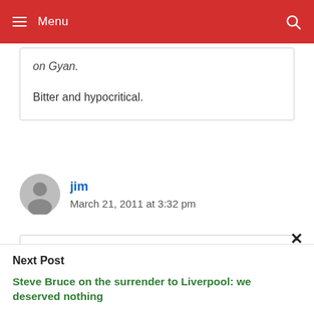Menu
on Gyan.
Bitter and hypocritical.
jim
March 21, 2011 at 3:32 pm
we have actually revenged the beach ball
Next Post
Steve Bruce on the surrender to Liverpool: we deserved nothing